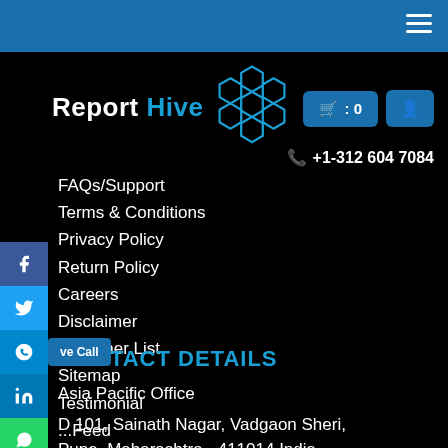Report Hive — navigation bar with hamburger menu
[Figure (logo): Report Hive logo with honeycomb hexagon graphic and text 'Report Hive']
FAQs/Support
Terms & Conditions
Privacy Policy
Return Policy
Careers
Disclaimer
Publisher List
Sitemap
Testimonial
...Feed
CONTACT DETAILS
Asia Pacific Office
D 101, Sainath Nagar, Vadgaon Sheri,
Pune, Maharashtra - 411014 India